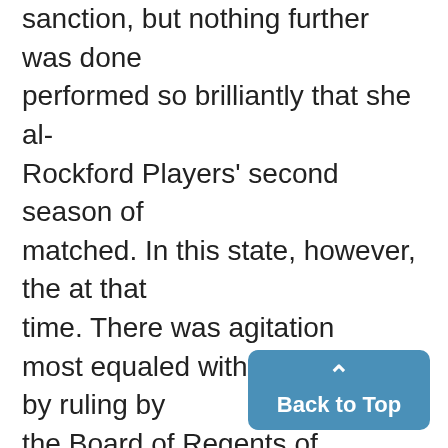sanction, but nothing further was done performed so brilliantly that she al- Rockford Players' second season of matched. In this state, however, the at that time. There was agitation most equaled with the pace set by ruling by the Board of Regents of Summer plays under the auspices of primary system needs improvement, again in 1925 and in the 1927 session Miss Kearns herself. Robert Hender- the University of Texas that begin- the Summer session and for the bene- he sa pre-convention plan There seim